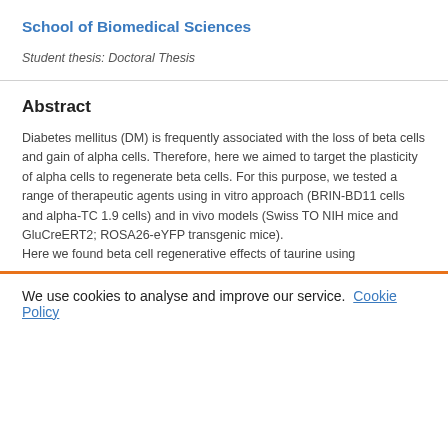School of Biomedical Sciences
Student thesis: Doctoral Thesis
Abstract
Diabetes mellitus (DM) is frequently associated with the loss of beta cells and gain of alpha cells. Therefore, here we aimed to target the plasticity of alpha cells to regenerate beta cells. For this purpose, we tested a range of therapeutic agents using in vitro approach (BRIN-BD11 cells and alpha-TC 1.9 cells) and in vivo models (Swiss TO NIH mice and GluCreERT2; ROSA26-eYFP transgenic mice).
Here we found beta cell regenerative effects of taurine using
We use cookies to analyse and improve our service. Cookie Policy